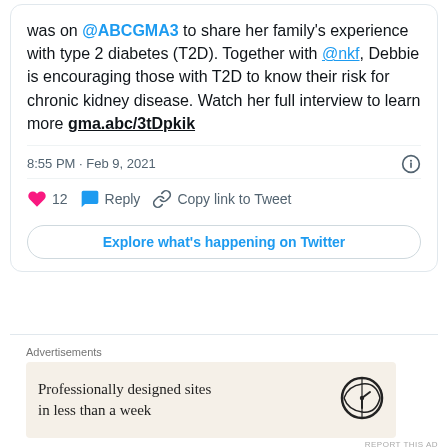was on @ABCGMA3 to share her family's experience with type 2 diabetes (T2D). Together with @nkf, Debbie is encouraging those with T2D to know their risk for chronic kidney disease. Watch her full interview to learn more gma.abc/3tDpkik
8:55 PM · Feb 9, 2021
12  Reply  Copy link to Tweet
Explore what's happening on Twitter
Advertisements
[Figure (other): WordPress advertisement: Professionally designed sites in less than a week]